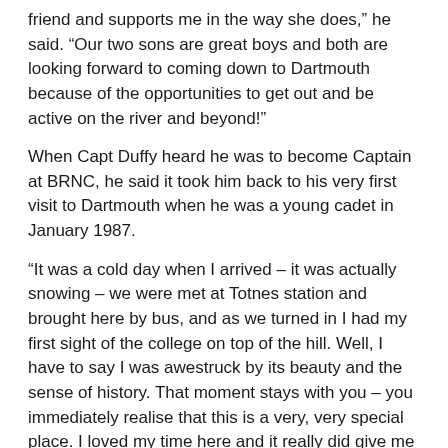friend and supports me in the way she does,” he said. “Our two sons are great boys and both are looking forward to coming down to Dartmouth because of the opportunities to get out and be active on the river and beyond!”
When Capt Duffy heard he was to become Captain at BRNC, he said it took him back to his very first visit to Dartmouth when he was a young cadet in January 1987.
“It was a cold day when I arrived – it was actually snowing – we were met at Totnes station and brought here by bus, and as we turned in I had my first sight of the college on top of the hill. Well, I have to say I was awestruck by its beauty and the sense of history. That moment stays with you – you immediately realise that this is a very, very special place. I loved my time here and it really did give me all I needed to go out into the Navy and succeed.  It is also one of the most beautiful places in the country, if not the world.
“When I heard the news that I was coming to BRNC to be its Captain, I felt the weight of history on my shoulders. I feel